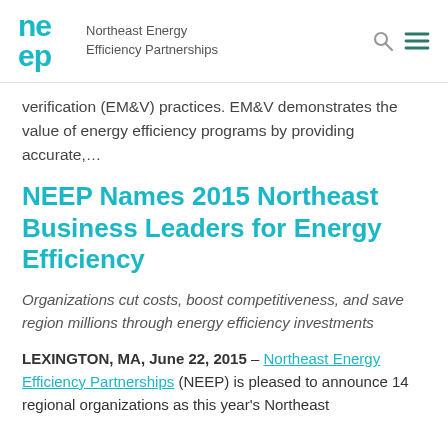Northeast Energy Efficiency Partnerships
verification (EM&V) practices. EM&V demonstrates the value of energy efficiency programs by providing accurate,…
NEEP Names 2015 Northeast Business Leaders for Energy Efficiency
Organizations cut costs, boost competitiveness, and save region millions through energy efficiency investments
LEXINGTON, MA, June 22, 2015 – Northeast Energy Efficiency Partnerships (NEEP) is pleased to announce 14 regional organizations as this year's Northeast